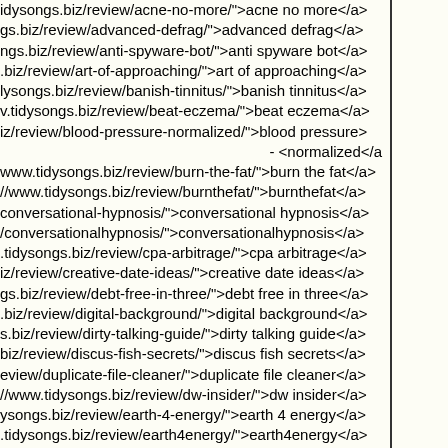idysongs.biz/review/acne-no-more/">acne no more</a>
gs.biz/review/advanced-defrag/">advanced defrag</a>
ngs.biz/review/anti-spyware-bot/">anti spyware bot</a>
.biz/review/art-of-approaching/">art of approaching</a>
lysongs.biz/review/banish-tinnitus/">banish tinnitus</a>
v.tidysongs.biz/review/beat-eczema/">beat eczema</a>
iz/review/blood-pressure-normalized/">blood pressure>
- <normalized</a>
www.tidysongs.biz/review/burn-the-fat/">burn the fat</a>
//www.tidysongs.biz/review/burnthefat/">burnthefat</a>
conversational-hypnosis/">conversational hypnosis</a>
/conversationalhypnosis/">conversationalhypnosis</a>
.tidysongs.biz/review/cpa-arbitrage/">cpa arbitrage</a>
iz/review/creative-date-ideas/">creative date ideas</a>
gs.biz/review/debt-free-in-three/">debt free in three</a>
.biz/review/digital-background/">digital background</a>
s.biz/review/dirty-talking-guide/">dirty talking guide</a>
biz/review/discus-fish-secrets/">discus fish secrets</a>
eview/duplicate-file-cleaner/">duplicate file cleaner</a>
//www.tidysongs.biz/review/dw-insider/">dw insider</a>
ysongs.biz/review/earth-4-energy/">earth 4 energy</a>
.tidysongs.biz/review/earth4energy/">earth4energy</a>
ww.tidysongs.biz/review/easy-tv-soft/">easy tv soft</a>
ongs.biz/review/easy-web-video/">easy web video</a>
ww.tidysongs.biz/review/eat-stop-eat/">eat stop eat</a>
//www.tidysongs.biz/review/eatstopeat/">eatstopeat</a>
ngs.biz/review/end-your-tinnitus/">end your tinnitus</a>
ww.tidysongs.biz/review/error-doctor/">error doctor</a>
songs.biz/review/evidence-smart/">evidence smart</a>
//www.tidysongs.biz/review/fap-winner/">fap winner</a>